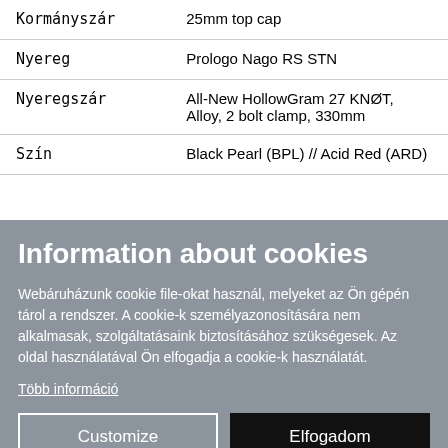| Component | Value |
| --- | --- |
| Kormányszár | 25mm top cap |
| Nyereg | Prologo Nago RS STN |
| Nyeregszár | All-New HollowGram 27 KNØT, Alloy, 2 bolt clamp, 330mm |
| Szín | Black Pearl (BPL) // Acid Red (ARD) |
Information about cookies
Webáruházunk cookie file-okat használ, melyeket az Ön gépén tárol a rendszer. A cookie-k személyazonosítására nem alkalmasak, szolgáltatásaink biztosításához szükségesek. Az oldal használatával Ön elfogadja a cookie-k használatát.
Több információ